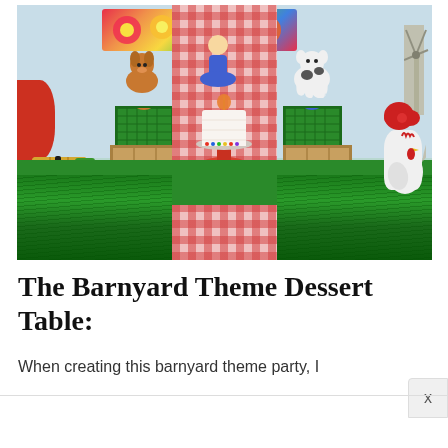[Figure (photo): A barnyard themed dessert table with green grass skirt tablecloth, red gingham runner, white layered birthday cake on a red cake stand, green plastic baskets with animal figurines, wooden crates, a green John Deere tractor, red rooster decoration, windmill, floral banner on the wall, and hay bales.]
The Barnyard Theme Dessert Table:
When creating this barnyard theme party, I